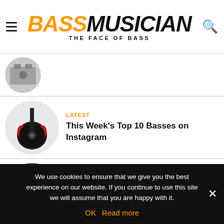BASS MUSICIAN — THE FACE OF BASS
[Figure (photo): Circular thumbnail photo of a bass guitar or music equipment, partially cropped at top]
LATEST
This Week's Top 10 Basses on Instagram
[Figure (photo): Circular thumbnail photo of a dark bass guitar with red accents against white background]
LATEST
This Week's Top 10 Basses on Instagram
[Figure (photo): Circular thumbnail photo of a natural wood bass guitar on green grass]
We use cookies to ensure that we give you the best experience on our website. If you continue to use this site we will assume that you are happy with it.
OK   Read more